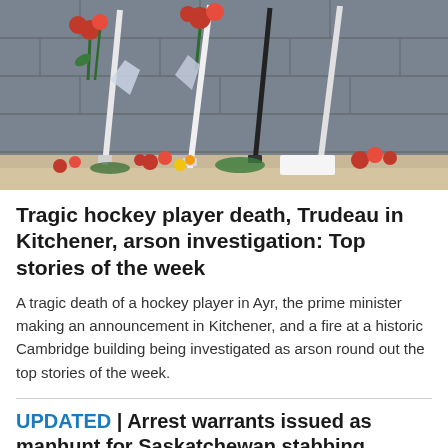[Figure (photo): Photo of flowers, hockey sticks, and red roses laid as a memorial against a grey concrete block wall, with a sidewalk visible at the bottom.]
Tragic hockey player death, Trudeau in Kitchener, arson investigation: Top stories of the week
A tragic death of a hockey player in Ayr, the prime minister making an announcement in Kitchener, and a fire at a historic Cambridge building being investigated as arson round out the top stories of the week.
UPDATED | Arrest warrants issued as manhunt for Saskatchewan stabbing suspects intensifies